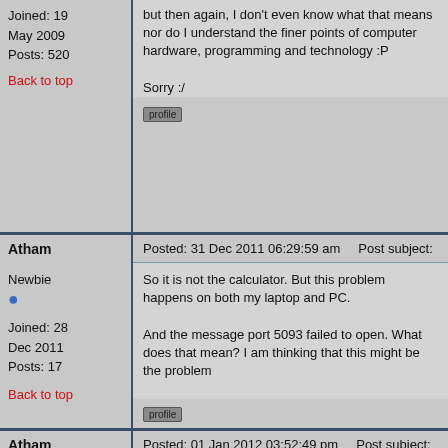but then again, I don't even know what that means nor do I understand the finer points of computer hardware, programming and technology :P

Sorry :/
Joined: 19 May 2009
Posts: 520
Back to top
Atham
Posted: 31 Dec 2011 06:29:59 am    Post subject:
So it is not the calculator. But this problem happens on both my laptop and PC.

And the message port 5093 failed to open. What does that mean? I am thinking that this might be the problem
Newbie
Joined: 28 Dec 2011
Posts: 17
Back to top
Atham
Posted: 01 Jan 2012 03:52:49 pm    Post subject:
Guys, does someone else have a similar problem?
Newbie
Joined: 28 Dec 2011
Posts: 17